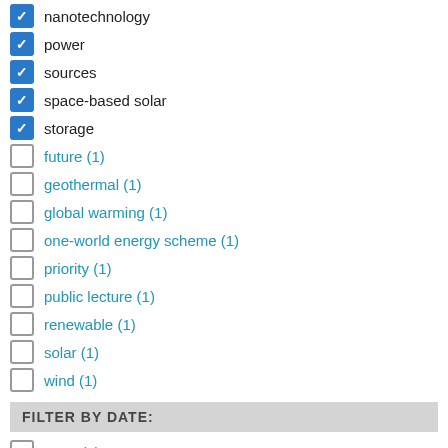nanotechnology [checked]
power [checked]
sources [checked]
space-based solar [checked]
storage [checked]
future (1) [unchecked]
geothermal (1) [unchecked]
global warming (1) [unchecked]
one-world energy scheme (1) [unchecked]
priority (1) [unchecked]
public lecture (1) [unchecked]
renewable (1) [unchecked]
solar (1) [unchecked]
wind (1) [unchecked]
FILTER BY DATE:
2003 (1) [unchecked]